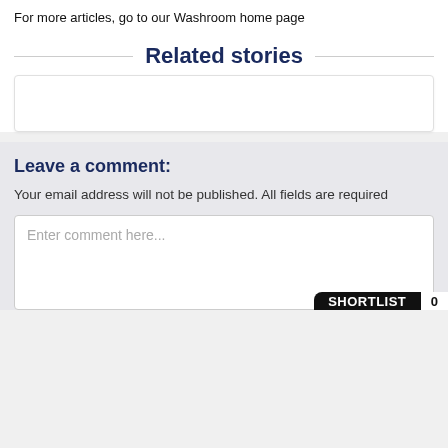For more articles, go to our Washroom home page
Related stories
[Figure (other): Empty related stories card placeholder]
Leave a comment:
Your email address will not be published. All fields are required
Enter comment here...
SHORTLIST 0